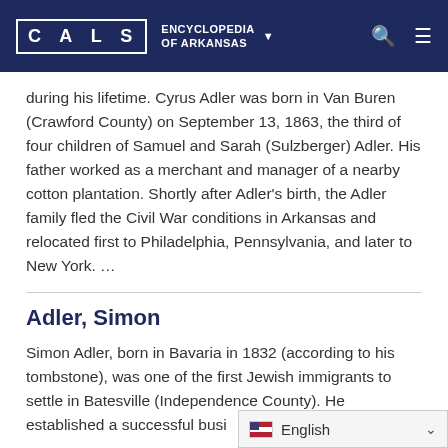CALS ENCYCLOPEDIA OF ARKANSAS
during his lifetime. Cyrus Adler was born in Van Buren (Crawford County) on September 13, 1863, the third of four children of Samuel and Sarah (Sulzberger) Adler. His father worked as a merchant and manager of a nearby cotton plantation. Shortly after Adler's birth, the Adler family fled the Civil War conditions in Arkansas and relocated first to Philadelphia, Pennsylvania, and later to New York. …
Adler, Simon
Simon Adler, born in Bavaria in 1832 (according to his tombstone), was one of the first Jewish immigrants to settle in Batesville (Independence County). He established a successful busi…